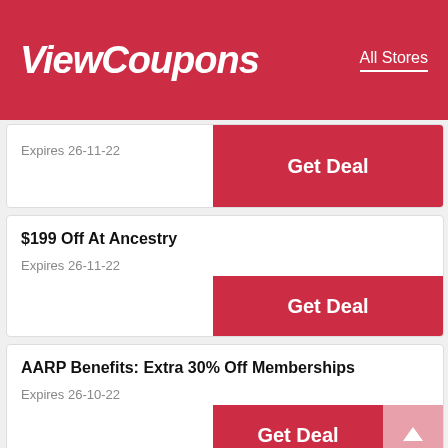ViewCoupons   All Stores
Expires 26-11-22
Get Deal
$199 Off At Ancestry
Expires 26-11-22
Get Deal
AARP Benefits: Extra 30% Off Memberships
Expires 26-10-22
Get Deal